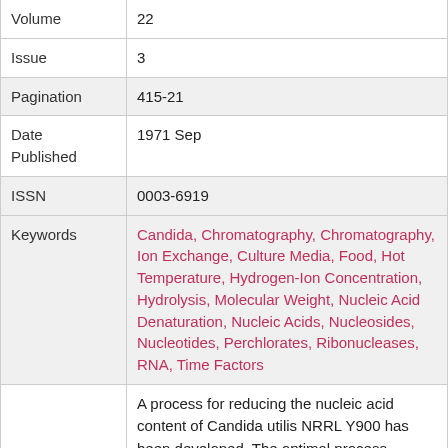| Field | Value |
| --- | --- |
| Volume | 22 |
| Issue | 3 |
| Pagination | 415-21 |
| Date Published | 1971 Sep |
| ISSN | 0003-6919 |
| Keywords | Candida, Chromatography, Chromatography, Ion Exchange, Culture Media, Food, Hot Temperature, Hydrogen-Ion Concentration, Hydrolysis, Molecular Weight, Nucleic Acid Denaturation, Nucleic Acids, Nucleosides, Nucleotides, Perchlorates, Ribonucleases, RNA, Time Factors |
|  | A process for reducing the nucleic acid content of Candida utilis NRRL Y900 has been developed. The optimal process consists of heating the cells suspended in spent medium initially at pH 4.0 for various times at three different temperatures. Initially a heat-shock at 68 C for 1 to 3 sec is performed followed by incubation for 1 hr at 45 to 50 C and for a 2nd hr at 52 to 55 C. The distribution of degradation products has been |